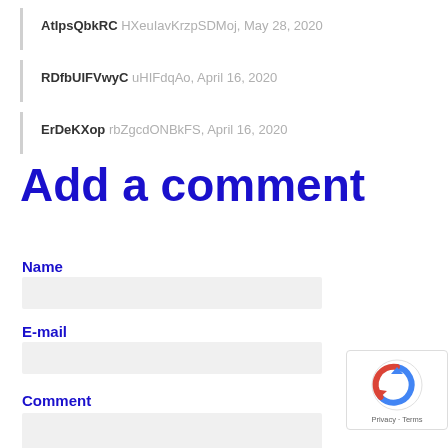AtIpsQbkRC HXeuIavKrzpSDMoj, May 28, 2020
RDfbUIFVwyC uHIFdqAo, April 16, 2020
ErDeKXop rbZgcdONBkFS, April 16, 2020
Add a comment
Name
E-mail
Comment